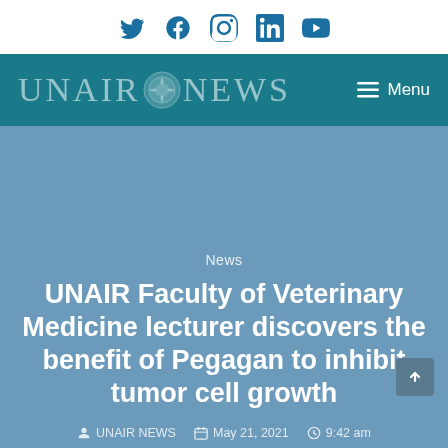Social media icons: Twitter, Facebook, Instagram, LinkedIn, YouTube
UNAIR NEWS — Menu
News
UNAIR Faculty of Veterinary Medicine lecturer discovers the benefit of Pegagan to inhibit tumor cell growth
UNAIR NEWS   May 21, 2021   9:42 am